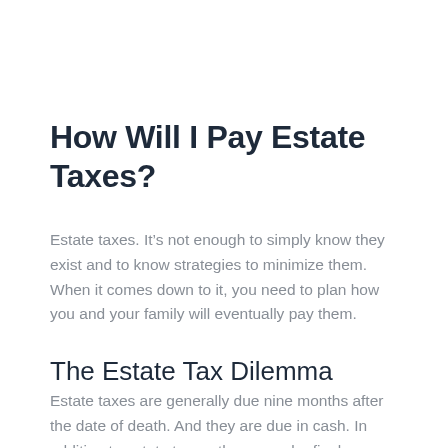How Will I Pay Estate Taxes?
Estate taxes. It’s not enough to simply know they exist and to know strategies to minimize them. When it comes down to it, you need to plan how you and your family will eventually pay them.
The Estate Tax Dilemma
Estate taxes are generally due nine months after the date of death. And they are due in cash. In addition to estate taxes, there may be final expenses, probate costs, administrative fees, and a variety of other